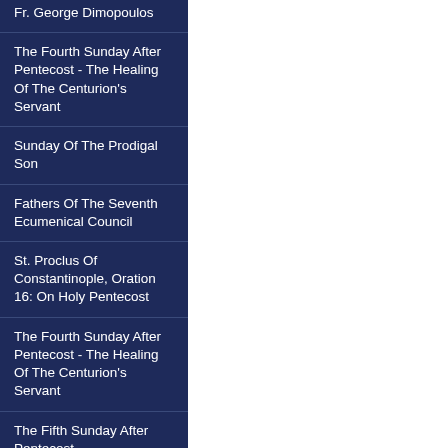Fr. George Dimopoulos
The Fourth Sunday After Pentecost - The Healing Of The Centurion's Servant
Sunday Of The Prodigal Son
Fathers Of The Seventh Ecumenical Council
St. Proclus Of Constantinople, Oration 16: On Holy Pentecost
The Fourth Sunday After Pentecost - The Healing Of The Centurion's Servant
The Fifth Sunday After Pentecost
Homily On The 8th Sunday After Pentecost